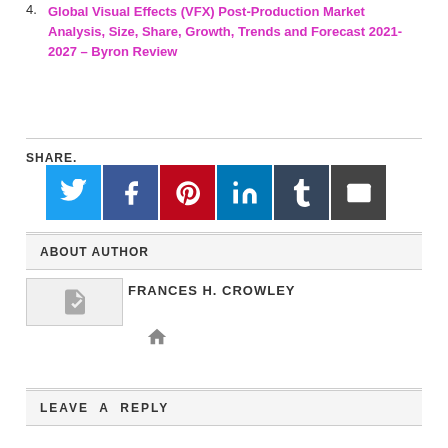4. Global Visual Effects (VFX) Post-Production Market Analysis, Size, Share, Growth, Trends and Forecast 2021-2027 – Byron Review
SHARE.
[Figure (infographic): Six social media sharing icon buttons: Twitter (light blue), Facebook (dark blue), Pinterest (red), LinkedIn (teal), Tumblr (dark slate), Email (dark gray)]
ABOUT AUTHOR
[Figure (photo): Author placeholder image thumbnail]
FRANCES H. CROWLEY
[Figure (other): Home icon]
LEAVE A REPLY